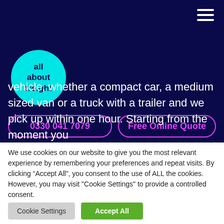[Figure (logo): All About Freight logo — cyan circle with dark navy text reading 'all about freight']
0330 041 7079
Free Online Quote
vehicle, whether a compact car, a medium sized van or a truck with a trailer and we pick up within one hour. Starting from the moment you
We use cookies on our website to give you the most relevant experience by remembering your preferences and repeat visits. By clicking “Accept All”, you consent to the use of ALL the cookies. However, you may visit "Cookie Settings" to provide a controlled consent.
Cookie Settings
Accept All